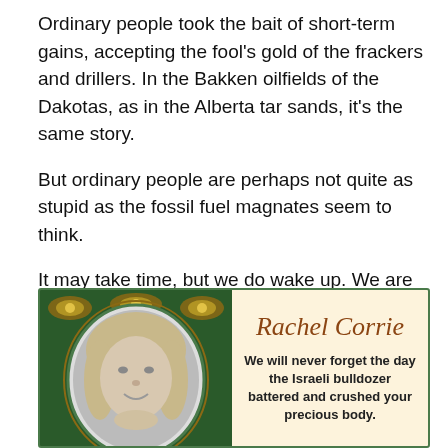Ordinary people took the bait of short-term gains, accepting the fool's gold of the frackers and drillers. In the Bakken oilfields of the Dakotas, as in the Alberta tar sands, it's the same story.
But ordinary people are perhaps not quite as stupid as the fossil fuel magnates seem to think.
It may take time, but we do wake up. We are coming to appreciate the inestimable value of clean water, clean air, healthy ecosystems and a stable climate.
[Figure (illustration): A memorial card for Rachel Corrie. Left side shows a black-and-white photograph of a young woman with long blonde hair, framed with ornate green and gold decorative border. Right side on a peach/cream background shows the name 'Rachel Corrie' in italic brown/rust serif font, followed by bold text: 'We will never forget the day the Israeli bulldozer battered and crushed your precious body.']